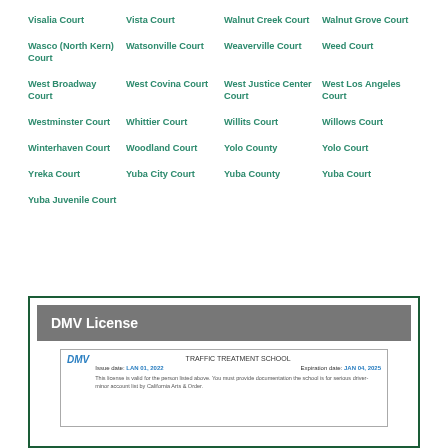Visalia Court
Vista Court
Walnut Creek Court
Walnut Grove Court
Wasco (North Kern) Court
Watsonville Court
Weaverville Court
Weed Court
West Broadway Court
West Covina Court
West Justice Center Court
West Los Angeles Court
Westminster Court
Whittier Court
Willits Court
Willows Court
Winterhaven Court
Woodland Court
Yolo County
Yolo Court
Yreka Court
Yuba City Court
Yuba County
Yuba Court
Yuba Juvenile Court
[Figure (other): DMV License section with header and a DMV traffic school license card showing DMV logo, TRAFFIC TREATMENT SCHOOL title, issue and expiration dates, and descriptive text about the license.]